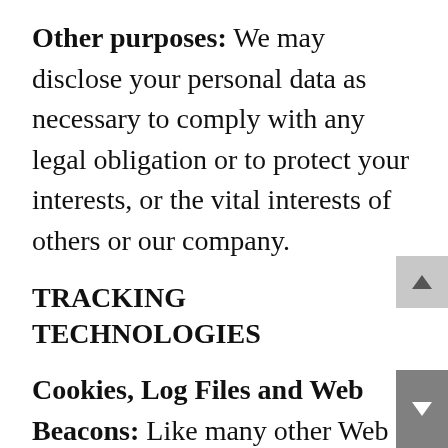Other purposes: We may disclose your personal data as necessary to comply with any legal obligation or to protect your interests, or the vital interests of others or our company.
TRACKING TECHNOLOGIES
Cookies, Log Files and Web Beacons: Like many other Web sites, we make use of log files. These files merely log visitors to the site – usually a standard procedure for hosting companies and a part of hosting services' analytics. The information inside